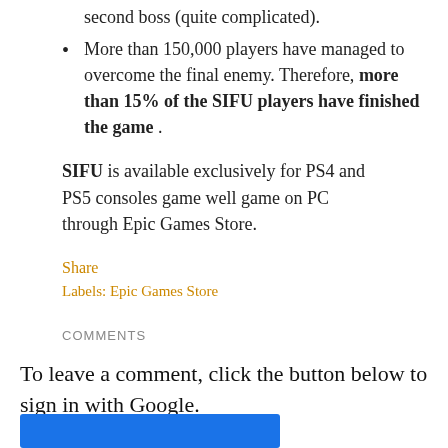second boss (quite complicated).
More than 150,000 players have managed to overcome the final enemy. Therefore, more than 15% of the SIFU players have finished the game .
SIFU is available exclusively for PS4 and PS5 consoles game well game on PC through Epic Games Store.
Share
Labels: Epic Games Store
COMMENTS
To leave a comment, click the button below to sign in with Google.